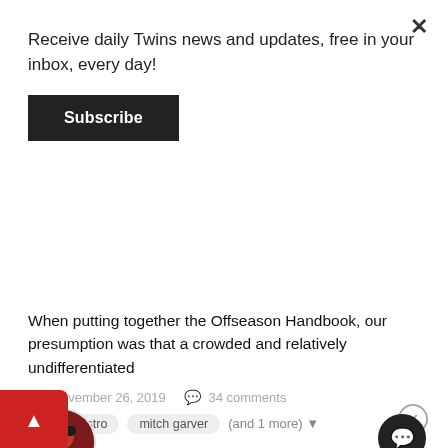Receive daily Twins news and updates, free in your inbox, every day!
Subscribe
When putting together the Offseason Handbook, our presumption was that a crowded and relatively undifferentiated
November 26, 2019   34 comments
jason castro
mitch garver
(and 1 more)
Front Page: Hot Commodities: Catching Up on the Free Agent Catcher Market
Nick Nelson posted a topic in Twins Daily Front Page News